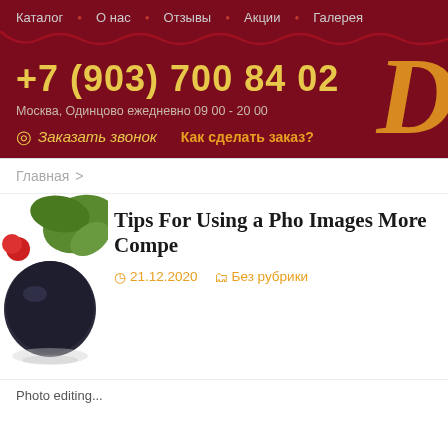Каталог · О нас · Отзывы · Акции · Галерея
+7 (903) 700 84 02
Москва, Одинцово ежедневно 09 00 - 20 00
Заказать звонок   Как сделать заказ?
Главная >
Tips For Using a Pho Images More Compe
21.12.2020   Без рубрики
Photo editing...